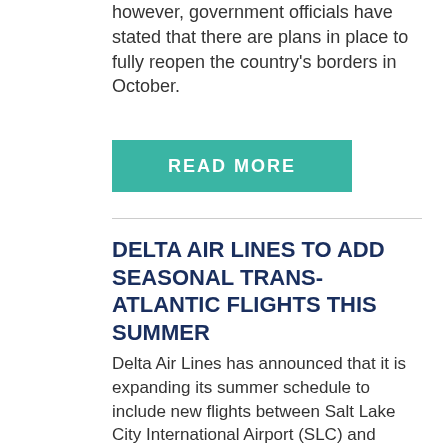however, government officials have stated that there are plans in place to fully reopen the country's borders in October.
READ MORE
DELTA AIR LINES TO ADD SEASONAL TRANS-ATLANTIC FLIGHTS THIS SUMMER
Delta Air Lines has announced that it is expanding its summer schedule to include new flights between Salt Lake City International Airport (SLC) and London Heathrow Airport (LHR) beginning May 14, and between New York's John F. Kennedy International Airport (JFK) and Stockholm-Arlanda Flygplats (ARN) starting July 1. Additionally, for the summer period between June 1 and August 31, the carrier announced that it is offering about 143 percent more seats in its three premium cabins than in summer 2021, for a total of approximately